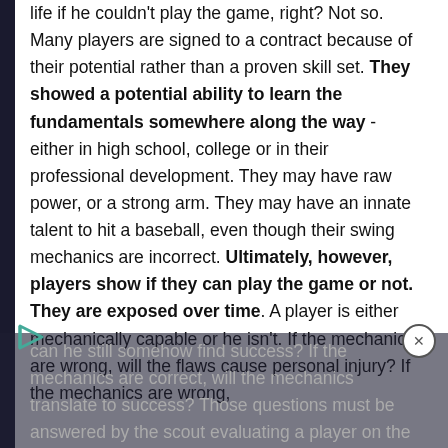life if he couldn't play the game, right? Not so. Many players are signed to a contract because of their potential rather than a proven skill set. They showed a potential ability to learn the fundamentals somewhere along the way - either in high school, college or in their professional development. They may have raw power, or a strong arm. They may have an innate talent to hit a baseball, even though their swing mechanics are incorrect. Ultimately, however, players show if they can play the game or not. They are exposed over time. A player is either mechanically capable or he isn't. If the mechanics are wrong, will the flaws cause personal injury? If the mechanics are wrong, can he still somehow find success? If the mechanics are correct, will the mechanics translate to success? Those questions must be answered by the scout evaluating a player on the chance for future fulfillment of potential.